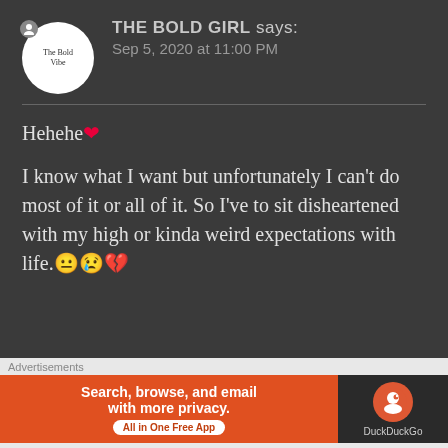THE BOLD GIRL says: Sep 5, 2020 at 11:00 PM
Hehehe ❤️

I know what I want but unfortunately I can't do most of it or all of it. So I've to sit disheartened with my high or kinda weird expectations with life.😐😢💔
You're right, that I don't try to
[Figure (screenshot): DuckDuckGo advertisement banner: orange background with text 'Search, browse, and email with more privacy. All in One Free App' and DuckDuckGo logo on dark background]
Advertisements